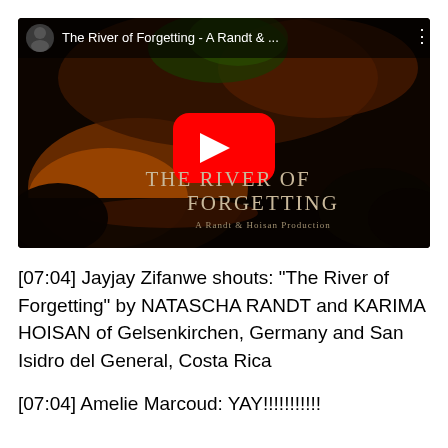[Figure (screenshot): YouTube video thumbnail for 'The River of Forgetting - A Randt & ...' showing a dark fantasy scene with the film title overlay and a YouTube play button in the center.]
[07:04] Jayjay Zifanwe shouts: "The River of Forgetting" by NATASCHA RANDT and KARIMA HOISAN of Gelsenkirchen, Germany and San Isidro del General, Costa Rica
[07:04] Amelie Marcoud: YAY!!!!!!!!!!!